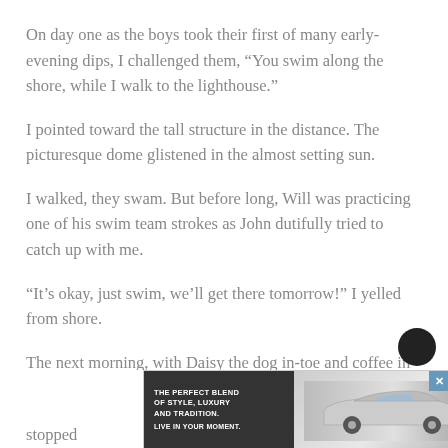On day one as the boys took their first of many early-evening dips, I challenged them, “You swim along the shore, while I walk to the lighthouse.”
I pointed toward the tall structure in the distance. The picturesque dome glistened in the almost setting sun.
I walked, they swam. But before long, Will was practicing one of his swim team strokes as John dutifully tried to catch up with me.
“It’s okay, just swim, we’ll get there tomorrow!” I yelled from shore.
The next morning, with Daisy the dog in-toe and coffee in-hand, I began my early morning stroll. The beach looked different than the evening before, the sand was no longer visible. Our stride was so... stopped... lory.
[Figure (other): Advertisement banner for Lincoln MKC: shows car image, text 'The Perfect Blend of Style, Luxury and Tradition. Live In Your Moment.', 'Experience The MKC Style', 'The Lincoln Motor Company']